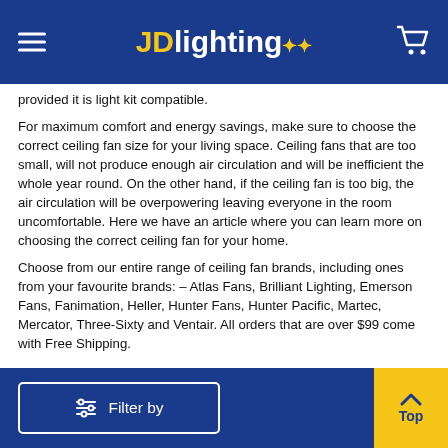JD Lighting
provided it is light kit compatible.
For maximum comfort and energy savings, make sure to choose the correct ceiling fan size for your living space. Ceiling fans that are too small, will not produce enough air circulation and will be inefficient the whole year round. On the other hand, if the ceiling fan is too big, the air circulation will be overpowering leaving everyone in the room uncomfortable. Here we have an article where you can learn more on choosing the correct ceiling fan for your home.
Choose from our entire range of ceiling fan brands, including ones from your favourite brands: – Atlas Fans, Brilliant Lighting, Emerson Fans, Fanimation, Heller, Hunter Fans, Hunter Pacific, Martec, Mercator, Three-Sixty and Ventair. All orders that are over $99 come with Free Shipping.
Filter by   Top